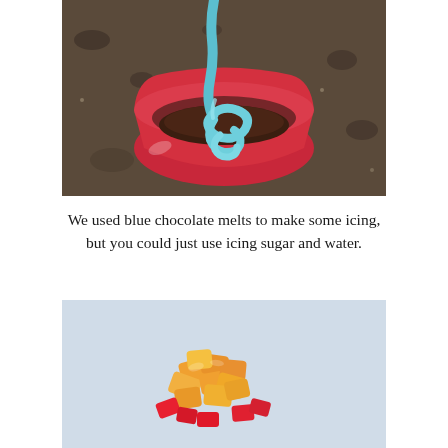[Figure (photo): Blue chocolate icing being piped into a red cupcake/bowl on a dark granite countertop]
We used blue chocolate melts to make some icing, but you could just use icing sugar and water.
[Figure (photo): Colorful candy pieces (orange and red gummy candies) arranged on a light blue background]